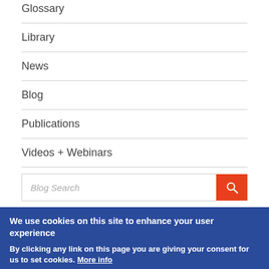Glossary
Library
News
Blog
Publications
Videos + Webinars
Blog Search
We use cookies on this site to enhance your user experience
By clicking any link on this page you are giving your consent for us to set cookies. More info
OK, I agree   Decline